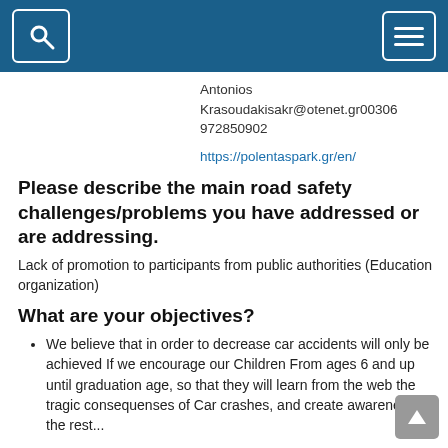Search and Menu navigation header
Antonios Krasoudakisakr@otenet.gr00306972850902
https://polentaspark.gr/en/
Please describe the main road safety challenges/problems you have addressed or are addressing.
Lack of promotion to participants from public authorities (Education organization)
What are your objectives?
We believe that in order to decrease car accidents will only be achieved If we encourage our Children From ages 6 and up until graduation age, so that they will learn from the web the tragic consequenses of Car crashes, and create awareness to the rest...